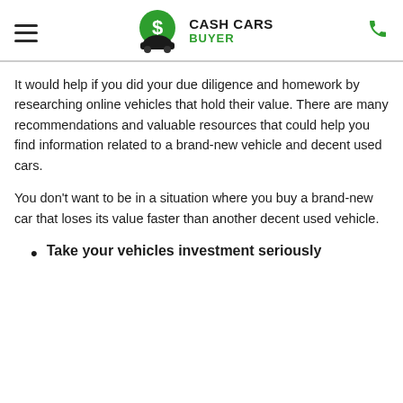[Figure (logo): Cash Cars Buyer logo with green circular dollar sign emblem and car silhouette, bold black text 'CASH CARS' and green text 'BUYER']
It would help if you did your due diligence and homework by researching online vehicles that hold their value. There are many recommendations and valuable resources that could help you find information related to a brand-new vehicle and decent used cars.
You don't want to be in a situation where you buy a brand-new car that loses its value faster than another decent used vehicle.
Take your vehicles investment seriously